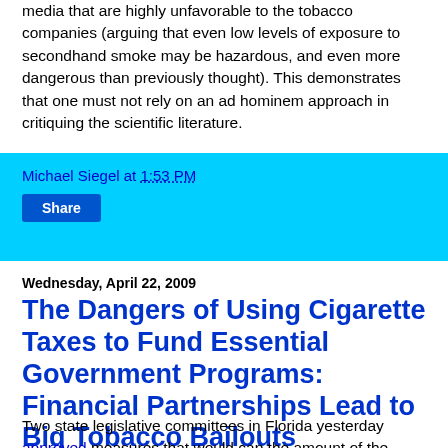media that are highly unfavorable to the tobacco companies (arguing that even low levels of exposure to secondhand smoke may be hazardous, and even more dangerous than previously thought). This demonstrates that one must not rely on an ad hominem approach in critiquing the scientific literature.
Michael Siegel at 1:53 PM
Share
Wednesday, April 22, 2009
The Dangers of Using Cigarette Taxes to Fund Essential Government Programs: Financial Partnerships Lead to Big Tobacco Bailouts
Two state legislative committees in Florida yesterday approved measures that would cap the amount of the appeal bonds that tobacco companies must pay if there are